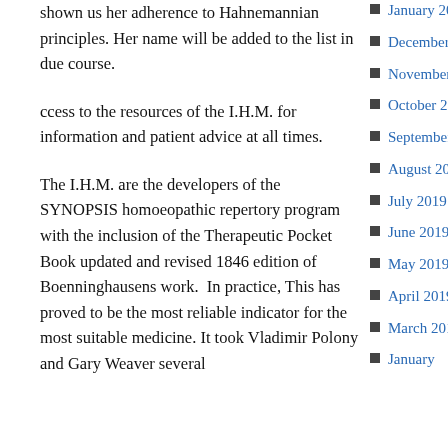shown us her adherence to Hahnemannian principles. Her name will be added to the list in due course.
ccess to the resources of the I.H.M. for information and patient advice at all times.
The I.H.M. are the developers of the SYNOPSIS homoeopathic repertory program with the inclusion of the Therapeutic Pocket Book updated and revised 1846 edition of Boenninghausens work.  In practice, This has proved to be the most reliable indicator for the most suitable medicine. It took Vladimir Polony and Gary Weaver several
January 2020
December 2019
November 2019
October 2019
September 2019
August 2019
July 2019
June 2019
May 2019
April 2019
March 2019
January